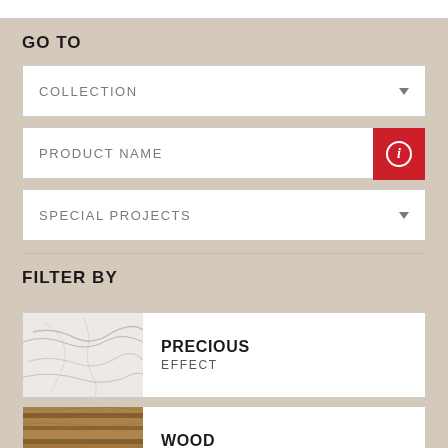GO TO
COLLECTION
PRODUCT NAME
SPECIAL PROJECTS
FILTER BY
PRECIOUS EFFECT
WOOD EFFECT